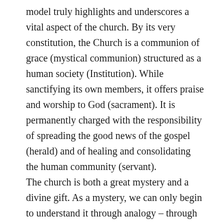model truly highlights and underscores a vital aspect of the church. By its very constitution, the Church is a communion of grace (mystical communion) structured as a human society (Institution). While sanctifying its own members, it offers praise and worship to God (sacrament). It is permanently charged with the responsibility of spreading the good news of the gospel (herald) and of healing and consolidating the human community (servant).
The church is both a great mystery and a divine gift. As a mystery, we can only begin to understand it through analogy – through models. However, all models fall woefully short of the reality they represent. No matter what model – or combination of models – we choose, our models will fall short. Furthermore, the church is always incomplete and unfinished until the eschaton – a blemished bride until the fullness of God's